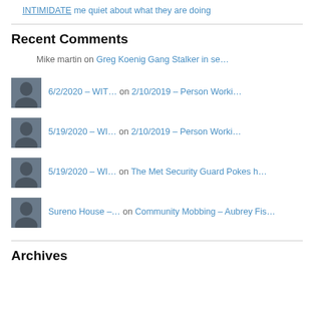INTIMIDATE me quiet about what they are doing
Recent Comments
Mike martin on Greg Koenig Gang Stalker in se…
6/2/2020 – WIT… on 2/10/2019 – Person Worki…
5/19/2020 – WI… on 2/10/2019 – Person Worki…
5/19/2020 – WI… on The Met Security Guard Pokes h…
Sureno House –… on Community Mobbing – Aubrey Fis…
Archives